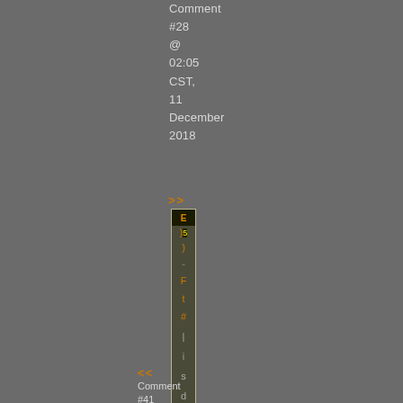Comment #28 @ 02:05 CST, 11 December 2018
[Figure (screenshot): A narrow vertical screenshot or image strip showing orange and dark content, bordered by a khaki/olive colored border, containing partial text characters in orange and gray on a dark background.]
Comment #41 @